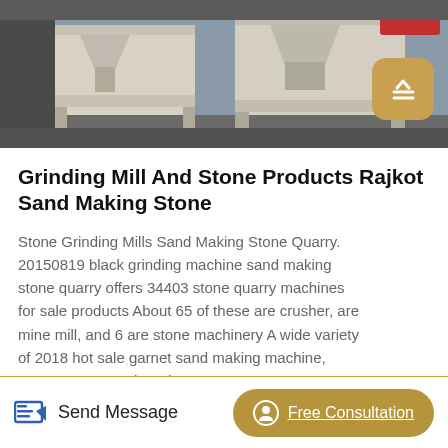[Figure (photo): Industrial stone crushing/grinding machine, beige/cream colored, photographed in a factory or outdoor setting]
Grinding Mill And Stone Products Rajkot Sand Making Stone
Stone Grinding Mills Sand Making Stone Quarry. 20150819 black grinding machine sand making stone quarry offers 34403 stone quarry machines for sale products About 65 of these are crusher, are mine mill, and 6 are stone machinery A wide variety of 2018 hot sale garnet sand making machine, quarry stone crusher plant.
Read More
Send Message
Free Consultation